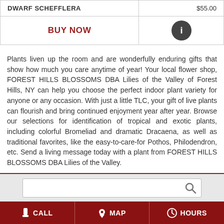| Product | Price |
| --- | --- |
| DWARF SCHEFFLERA | $55.00 |
| BUY NOW | ℹ |
Plants liven up the room and are wonderfully enduring gifts that show how much you care anytime of year! Your local flower shop, FOREST HILLS BLOSSOMS DBA Lilies of the Valley of Forest Hills, NY can help you choose the perfect indoor plant variety for anyone or any occasion. With just a little TLC, your gift of live plants can flourish and bring continued enjoyment year after year. Browse our selections for identification of tropical and exotic plants, including colorful Bromeliad and dramatic Dracaena, as well as traditional favorites, like the easy-to-care-for Pothos, Philodendron, etc. Send a living message today with a plant from FOREST HILLS BLOSSOMS DBA Lilies of the Valley.
CALL  MAP  HOURS